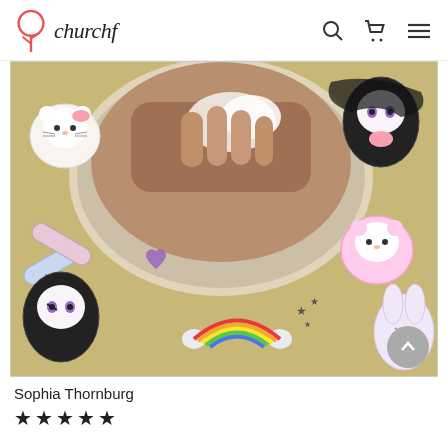churchf
[Figure (photo): Person washing their face in a mirror selfie, mirror decorated with Sanrio stickers (Hello Kitty, Kuromi, My Melody, rainbow), photo taken against a yellow wall background]
Sophia Thornburg
★★★★★